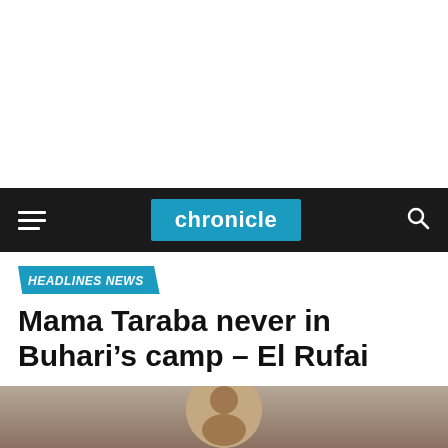[Figure (screenshot): White blank advertisement area at top of page]
chronicle
HEADLINES NEWS
Mama Taraba never in Buhari’s camp – El Rufai
Published 5 years ago on September 8, 2017 By admin
[Figure (photo): Partial photo of a person at bottom of page]